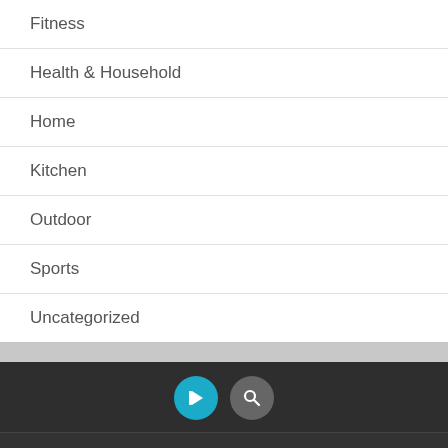Fitness
Health & Household
Home
Kitchen
Outdoor
Sports
Uncategorized
Check Black friday wow for best products
Copyright © 2022 photoshopdisasters
Design by ThemesDNA.com